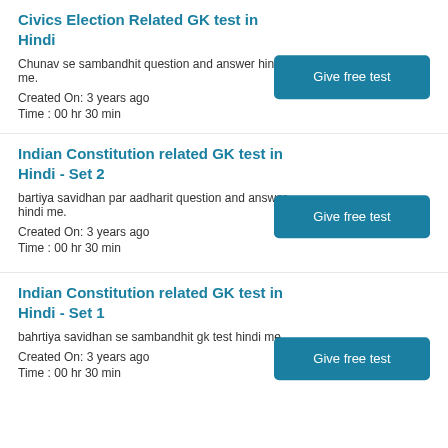Civics Election Related GK test in Hindi
Chunav se sambandhit question and answer hindi me.
Created On: 3 years ago
Time : 00 hr 30 min
Indian Constitution related GK test in Hindi - Set 2
bartiya savidhan par aadharit question and answer hindi me.
Created On: 3 years ago
Time : 00 hr 30 min
Indian Constitution related GK test in Hindi - Set 1
bahrtiya savidhan se sambandhit gk test hindi me.
Created On: 3 years ago
Time : 00 hr 30 min